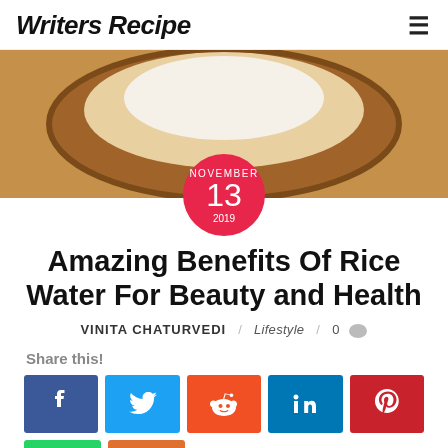Writers Recipe
[Figure (photo): Photo of a wooden bowl with white substance (rice/rice water) on a burlap texture background, with a red circular date badge showing NOVEMBER 13 2019]
Amazing Benefits Of Rice Water For Beauty and Health
VINITA CHATURVEDI / Lifestyle / 0
Share this!
[Figure (infographic): Social media share buttons row: Facebook (blue), Twitter (light blue), Reddit (orange), LinkedIn (blue), Pinterest (red)]
[Figure (infographic): Second row of social share buttons (partially visible): WhatsApp (green), another orange button]